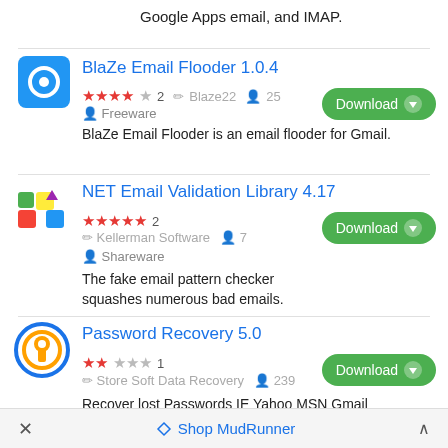Google Apps email, and IMAP.
BlaZe Email Flooder 1.0.4
★★★★☆ 2  ✏ Blaze22  👤 25  Freeware
BlaZe Email Flooder is an email flooder for Gmail.
NET Email Validation Library 4.17
★★★★★ 2  ✏ Kellerman Software  👤 7  Shareware
The fake email pattern checker squashes numerous bad emails.
Password Recovery 5.0
★★☆☆☆ 1  ✏ Store Soft Data Recovery  👤 239
Recover lost Passwords IE Yahoo MSN Gmail Hotmail FTP Zip POP RAR Email Internet...
× Shop MudRunner ^